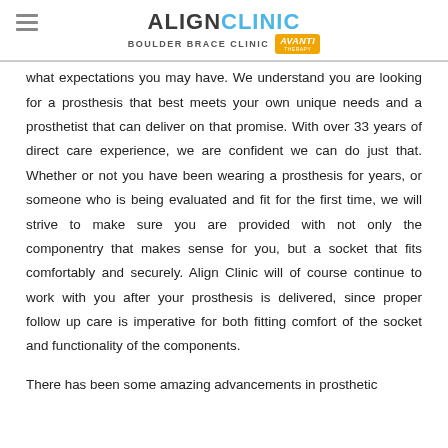ALIGN CLINIC BOULDER BRACE CLINIC AVANTI THERAPY
what expectations you may have. We understand you are looking for a prosthesis that best meets your own unique needs and a prosthetist that can deliver on that promise. With over 33 years of direct care experience, we are confident we can do just that. Whether or not you have been wearing a prosthesis for years, or someone who is being evaluated and fit for the first time, we will strive to make sure you are provided with not only the componentry that makes sense for you, but a socket that fits comfortably and securely. Align Clinic will of course continue to work with you after your prosthesis is delivered, since proper follow up care is imperative for both fitting comfort of the socket and functionality of the components.
There has been some amazing advancements in prosthetic